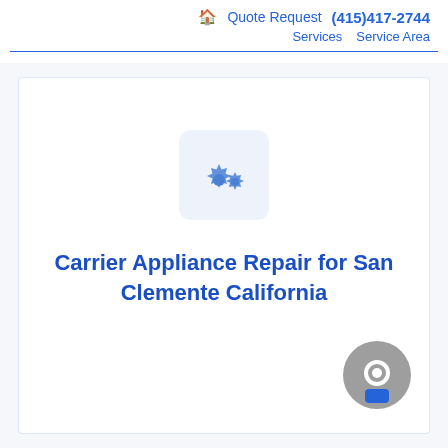🏠 Quote Request (415)417-2744 Services Service Area
[Figure (illustration): Gear/settings icon in a light blue rounded square box]
Carrier Appliance Repair for San Clemente California
[Figure (other): Gray circular chat widget button in bottom right corner]